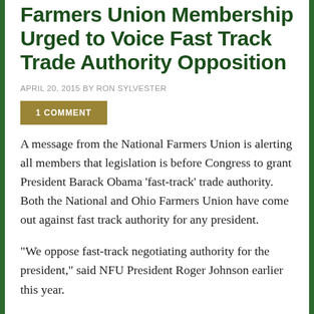Farmers Union Membership Urged to Voice Fast Track Trade Authority Opposition
APRIL 20, 2015 BY RON SYLVESTER
1 COMMENT
A message from the National Farmers Union is alerting all members that legislation is before Congress to grant President Barack Obama ‘fast-track’ trade authority. Both the National and Ohio Farmers Union have come out against fast track authority for any president.
“We oppose fast-track negotiating authority for the president,” said NFU President Roger Johnson earlier this year.
“Trade agreements must be a fair deal for all parties – farmers, workers, and consumers, both in the United States